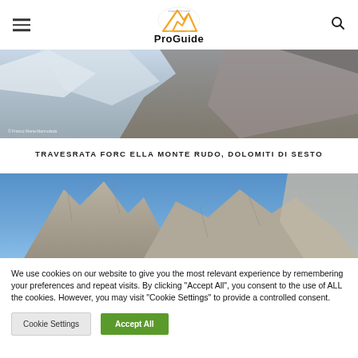ProGuide (images and travel)
[Figure (photo): Mountain landscape with snow-capped peaks and rocky terrain, partially visible at top]
TRAVESRATA FORCELLA MONTE RUDO, DOLOMITI DI SESTO
[Figure (photo): Rocky Dolomite mountain peaks against blue sky]
We use cookies on our website to give you the most relevant experience by remembering your preferences and repeat visits. By clicking "Accept All", you consent to the use of ALL the cookies. However, you may visit "Cookie Settings" to provide a controlled consent.